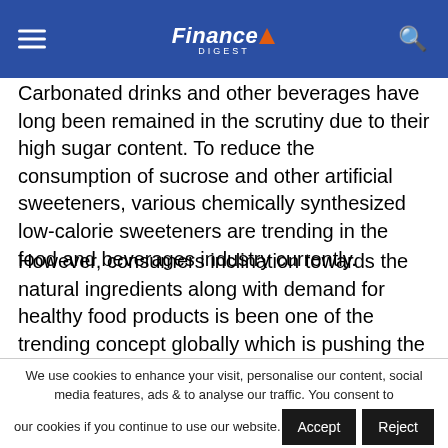Finance Digest
Carbonated drinks and other beverages have long been remained in the scrutiny due to their high sugar content. To reduce the consumption of sucrose and other artificial sweeteners, various chemically synthesized low-calorie sweeteners are trending in the food and beverages industry currently.
However, consumers inclination towards the natural ingredients along with demand for healthy food products is been one of the trending concept globally which is pushing the penetration of zero calories, non-GMO sweeteners including, next generation stevia.
We use cookies to enhance your visit, personalise our content, social media features, ads & to analyse our traffic. You consent to our cookies if you continue to use our website.
Read More